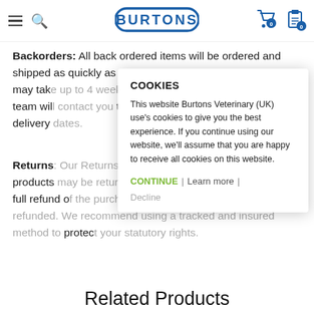BURTONS (Burtons Veterinary UK) — navigation header with logo, hamburger menu, search, cart (0), and clipboard icons
Backorders: All back ordered items will be ordered and shipped as quickly as we can to you. Special order items may take up to 4 weeks. Once ordered a member of our team will contact you to keep you informed of the estimated delivery dates.
Returns: Our Returns Policy is that items may not be used products may be returned within 30 days of delivery for a full refund of the purchase price. The original postage is not refunded. We recommend using a tracked and insured method to protect your statutory rights.
[Figure (screenshot): Cookie consent modal overlay with title 'COOKIES', body text, CONTINUE / Learn more / Decline links]
Related Products